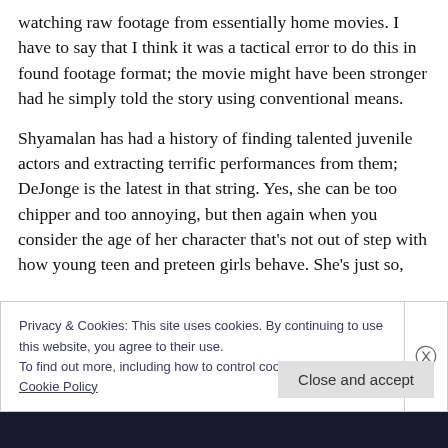watching raw footage from essentially home movies. I have to say that I think it was a tactical error to do this in found footage format; the movie might have been stronger had he simply told the story using conventional means.
Shyamalan has had a history of finding talented juvenile actors and extracting terrific performances from them; DeJonge is the latest in that string. Yes, she can be too chipper and too annoying, but then again when you consider the age of her character that's not out of step with how young teen and preteen girls behave. She's just so,
Privacy & Cookies: This site uses cookies. By continuing to use this website, you agree to their use.
To find out more, including how to control cookies, see here: Cookie Policy
Close and accept